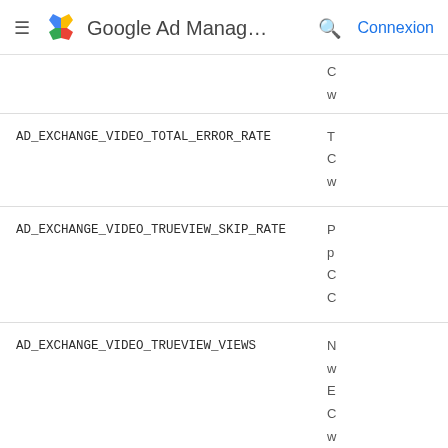Google Ad Manag... Connexion
| Name | Description (truncated) |
| --- | --- |
| (partial row) | C
w |
| AD_EXCHANGE_VIDEO_TOTAL_ERROR_RATE | T
C
w |
| AD_EXCHANGE_VIDEO_TRUEVIEW_SKIP_RATE | P
p
C
C |
| AD_EXCHANGE_VIDEO_TRUEVIEW_VIEWS | N
w
E
C
w |
| AD_EXCHANGE_VIDEO_TRUEVIEW_VTR | T
E
C |